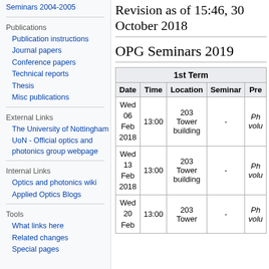Seminars 2004-2005
Publications
Publication instructions
Journal papers
Conference papers
Technical reports
Thesis
Misc publications
External Links
The University of Nottingham
UoN - Official optics and photonics group webpage
Internal Links
Optics and photonics wiki
Applied Optics Blogs
Tools
What links here
Related changes
Special pages
Revision as of 15:46, 30 October 2018
OPG Seminars 2019
| ['1st Term', '', '', '', ''] | ['Date', 'Time', 'Location', 'Seminar', 'Pre'] |
| --- | --- |
| Wed 06 Feb 2018 | 13:00 | 203 Tower building | - | Ph volu |
| Wed 13 Feb 2018 | 13:00 | 203 Tower building | - | Ph volu |
| Wed 20 Feb | 13:00 | 203 Tower | - | Ph volu |